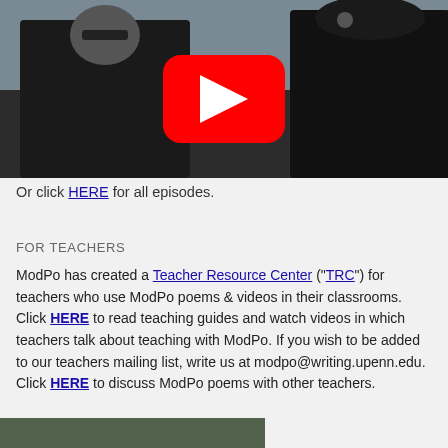[Figure (photo): YouTube video thumbnail showing two people outdoors in winter clothing near water; a YouTube play button overlay is visible in the center]
Or click HERE for all episodes.
FOR TEACHERS
ModPo has created a Teacher Resource Center (“TRC”) for teachers who use ModPo poems & videos in their classrooms. Click HERE to read teaching guides and watch videos in which teachers talk about teaching with ModPo. If you wish to be added to our teachers mailing list, write us at modpo@writing.upenn.edu. Click HERE to discuss ModPo poems with other teachers.
[Figure (photo): Partial bottom photo showing outdoor scene, cropped]